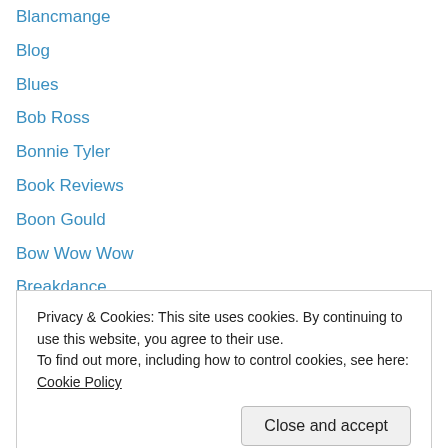Blancmange
Blog
Blues
Bob Ross
Bonnie Tyler
Book Reviews
Boon Gould
Bow Wow Wow
Breakdance
Brecker Brothers
Brian Eno
Bryan Ferry
Bucks Fizz
Privacy & Cookies: This site uses cookies. By continuing to use this website, you agree to their use. To find out more, including how to control cookies, see here: Cookie Policy
Cheers